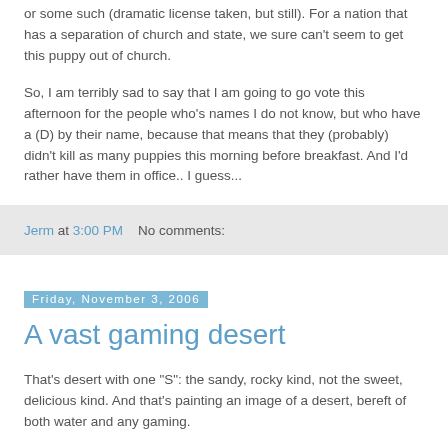or some such (dramatic license taken, but still). For a nation that has a separation of church and state, we sure can't seem to get this puppy out of church.
So, I am terribly sad to say that I am going to go vote this afternoon for the people who's names I do not know, but who have a (D) by their name, because that means that they (probably) didn't kill as many puppies this morning before breakfast. And I'd rather have them in office.. I guess...
Jerm at 3:00 PM    No comments:
Friday, November 3, 2006
A vast gaming desert
That's desert with one "S": the sandy, rocky kind, not the sweet, delicious kind. And that's painting an image of a desert, bereft of both water and any gaming.
I am posting just to complain (for like the thousandth time